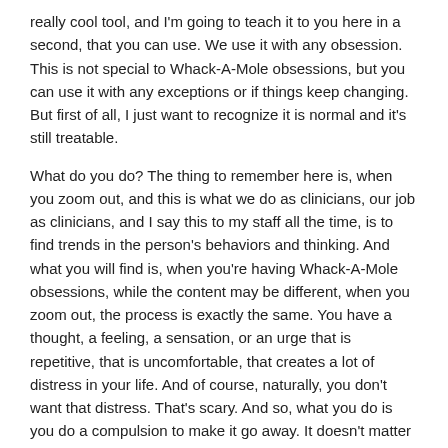really cool tool, and I'm going to teach it to you here in a second, that you can use. We use it with any obsession. This is not special to Whack-A-Mole obsessions, but you can use it with any exceptions or if things keep changing. But first of all, I just want to recognize it is normal and it's still treatable.
What do you do? The thing to remember here is, when you zoom out, and this is what we do as clinicians, our job as clinicians, and I say this to my staff all the time, is to find trends in the person's behaviors and thinking. And what you will find is, when you're having Whack-A-Mole obsessions, while the content may be different, when you zoom out, the process is exactly the same. You have a thought, a feeling, a sensation, or an urge that is repetitive, that is uncomfortable, that creates a lot of distress in your life. And of course, naturally, you don't want that distress. That's scary. And so, what you do is you do a compulsion to make it go away. It doesn't matter what the content is. It doesn't matter what the specific theory is. This is the same trend. And so, when we zoom out, we can see the trend, and then we can go, “Aha. Even though the content is the same, I can still intervene at the same point.” When we talk about this in ERP School, is the intervention point is at the compulsion.
And so, the work here is the content doesn’t matter. Your job is to catch and be aware, like we’ve talked a lot about mindfulness, is to be aware and identify, “Oh, I’m in the trend. I’m in the cycle.” While the one content has changed, the same behaviors are playing out. So, you catch that. You then practice being willing to be uncomfortable and uncertain about the content, because that’s